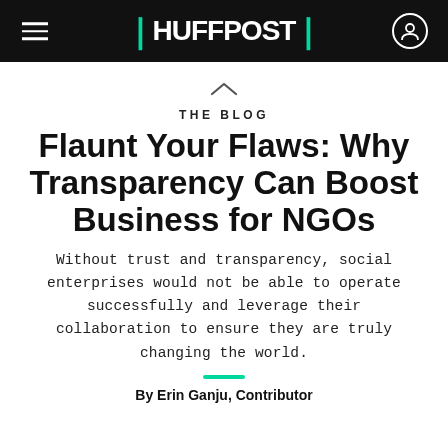HUFFPOST
THE BLOG
Flaunt Your Flaws: Why Transparency Can Boost Business for NGOs
Without trust and transparency, social enterprises would not be able to operate successfully and leverage their collaboration to ensure they are truly changing the world.
By Erin Ganju, Contributor